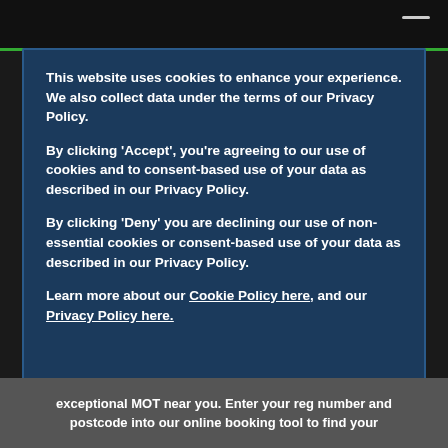This website uses cookies to enhance your experience. We also collect data under the terms of our Privacy Policy.

By clicking 'Accept', you're agreeing to our use of cookies and to consent-based use of your data as described in our Privacy Policy.

By clicking 'Deny' you are declining our use of non-essential cookies or consent-based use of your data as described in our Privacy Policy.

Learn more about our Cookie Policy here, and our Privacy Policy here.
exceptional MOT near you. Enter your reg number and postcode into our online booking tool to find your